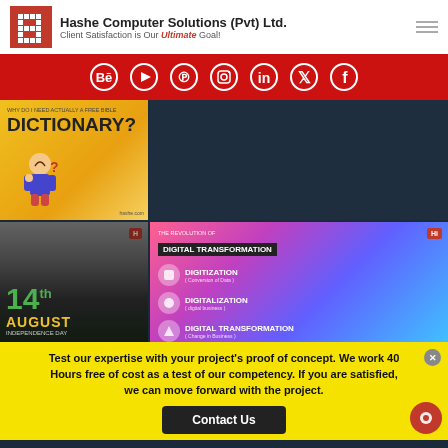Hashe Computer Solutions (Pvt) Ltd. — Client Satisfaction is Our Ultimate Goal!
[Figure (infographic): Red social media bar with Behance, YouTube, Pinterest, Instagram, LinkedIn, Twitter, Facebook icons]
[Figure (illustration): Yellow background thumbnail with 'WHY DO I NEED ACTUALLY A FREE BIBLE DICTIONARY?' text and cartoon boy]
[Figure (illustration): Dark teal empty thumbnail area]
[Figure (illustration): Black and white photo with green 14th August Independence Day overlay text]
[Figure (infographic): Colorful gradient infographic: The Revolution of Digital Transformation — Digitization, Digitalization, Digital Transformation]
Test our expertise with your project's proof of concept. We work 40 Hours free of cost as a test of our competency. If you are satisfied, we can move forward with the project.
Contact Us